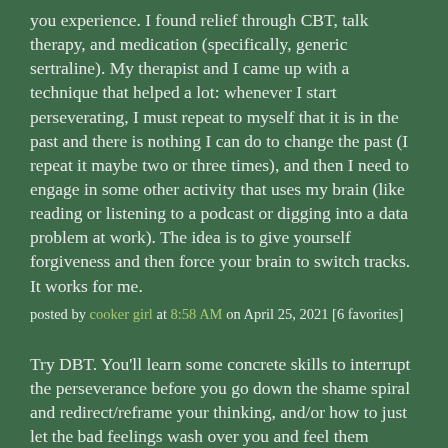you experience. I found relief through CBT, talk therapy, and medication (specifically, generic sertraline). My therapist and I came up with a technique that helped a lot: whenever I start perseverating, I must repeat to myself that it is in the past and there is nothing I can do to change the past (I repeat it maybe two or three times), and then I need to engage in some other activity that uses my brain (like reading or listening to a podcast or digging into a data problem at work). The idea is to give yourself forgiveness and then force your brain to switch tracks. It works for me.
posted by cooker girl at 8:58 AM on April 25, 2021 [6 favorites]
Try DBT. You'll learn some concrete skills to interrupt the perseverance before you go down the shame spiral and redirect/reframe your thinking, and/or how to just let the bad feelings wash over you and feel them briefly without dwelling.